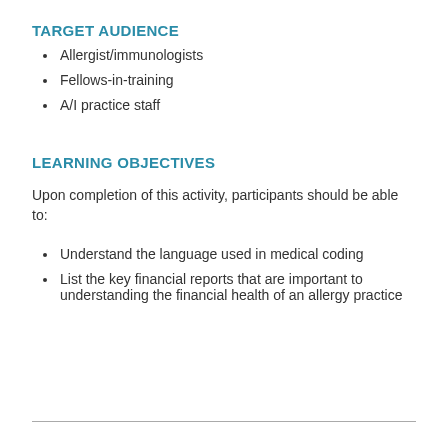TARGET AUDIENCE
Allergist/immunologists
Fellows-in-training
A/I practice staff
LEARNING OBJECTIVES
Upon completion of this activity, participants should be able to:
Understand the language used in medical coding
List the key financial reports that are important to understanding the financial health of an allergy practice